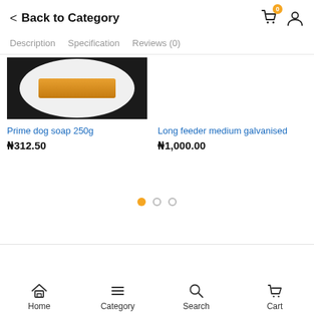< Back to Category
Description   Specification   Reviews (0)
[Figure (photo): Product image of Prime dog soap 250g on dark circular background]
Prime dog soap 250g
₦312.50
Long feeder medium galvanised
₦1,000.00
[Figure (other): Pagination dots: one filled orange dot and two empty circle dots]
Home   Category   Search   Cart